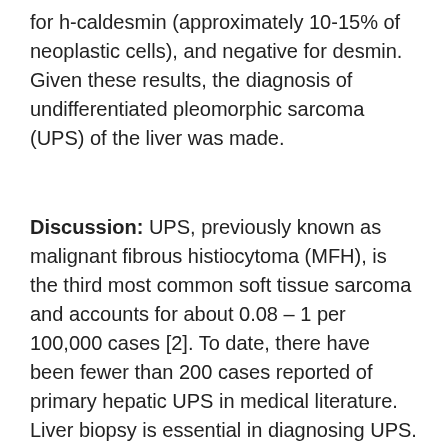for h-caldesmin (approximately 10-15% of neoplastic cells), and negative for desmin. Given these results, the diagnosis of undifferentiated pleomorphic sarcoma (UPS) of the liver was made.
Discussion: UPS, previously known as malignant fibrous histiocytoma (MFH), is the third most common soft tissue sarcoma and accounts for about 0.08 – 1 per 100,000 cases [2]. To date, there have been fewer than 200 cases reported of primary hepatic UPS in medical literature. Liver biopsy is essential in diagnosing UPS. Abdominal imaging studies such as CT and U/S are only able to reveal a mass and are nonspecific for UPS. Primary hepatic UPS is ordinarily a diagnosis of exclusion and made by multiple immuno-histological testing that rules out hepatic, GIST, hematological, neural and epithelial origin. Stains for mesenchymal origin are usually the only